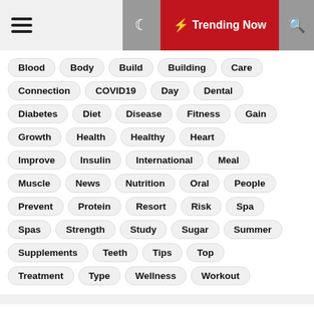☰ 🌙 ⚡ Trending Now 🔍
Blood
Body
Build
Building
Care
Connection
COVID19
Day
Dental
Diabetes
Diet
Disease
Fitness
Gain
Growth
Health
Healthy
Heart
Improve
Insulin
International
Meal
Muscle
News
Nutrition
Oral
People
Prevent
Protein
Resort
Risk
Spa
Spas
Strength
Study
Sugar
Summer
Supplements
Teeth
Tips
Top
Treatment
Type
Wellness
Workout
Recent Post
) monkeypox advice urges have sex with men to limi...
[Figure (photo): Person using a tablet/laptop device on a table]
Food swaps, cooking tips, a